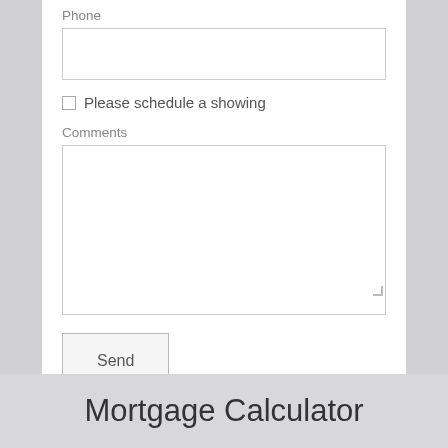Phone
Please schedule a showing
Comments
Send
Mortgage Calculator